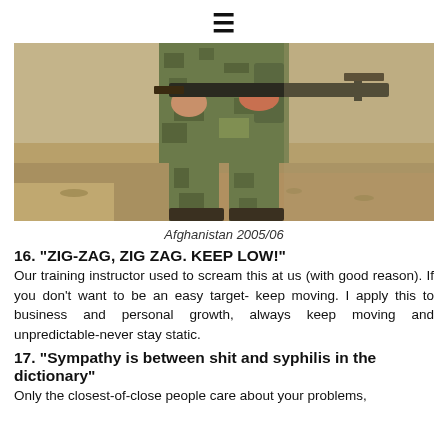≡
[Figure (photo): A soldier in camouflage uniform holding a rifle, photographed from torso down, in a desert/sandy environment. Afghanistan 2005/06.]
Afghanistan 2005/06
16.  "ZIG-ZAG, ZIG ZAG. KEEP LOW!"
Our training instructor used to scream this at us (with good reason).  If you don't want to be an easy target- keep moving.   I apply this to business and personal growth, always keep moving and unpredictable-never stay static.
17.  "Sympathy is between shit and syphilis in the dictionary"
Only the closest-of-close people care about your problems,